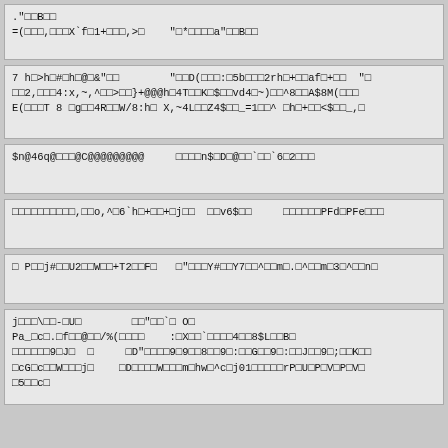."□□B□□
=(□□□,□□□X`f□1+□□□,>□    "□*□□□□a"□□B□□
7 h□>h□#□h□@□&"□□        "□□D(□□□:□5b□□□2rh□+□□af□+□□  "
□□2,□□□4:x,~,^□□>□□}+@@@h□4T□□K□$□□vd4□~)□□^8□□A$8M(□□□
E(□□□T 8 □g□□4R□□W/8:h□ X,~4L□□Z4$□□_=1□□^ □h□+□□<$□□_,□
$n@46q@□□□@C@@@@@@@@@     □□□□n$□D□@□□`□□`6□2□□□
□□□□□□□□□□,□□o,^□6`h□+□□+□j□□  □□v6$□□     □□□□□□PFd□PFe□□□
□ P□□j#□□U2□□W□□+T2□□F□   □"□□□Y#□□Y7□□^□□m□.□^□□m□3□^□□n□
j□□□\□□-□U□        □□"□□`□ O□
Pa_□c□.□f□□@□□/%(□□□□    :□X□□`□□□□4□□8$L□□B□
□□□□□□9□J□  □     □D"□□□□9□9□□8□□9□:□□G□□9□:□□J□□9□;□□K□□
□cG□c□□W□□□j□    □D□□□□W□□□m□hw□^c□j01□□□□□rP□U□P□V□P□V□
□5□□c□